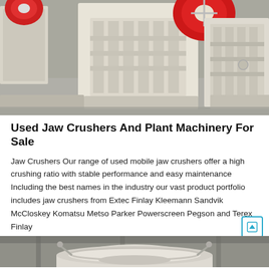[Figure (photo): Photo of large industrial jaw crushers lined up in a factory/warehouse setting. Machines are white and beige with red flywheels visible at the top. Concrete floor visible.]
Used Jaw Crushers And Plant Machinery For Sale
Jaw Crushers Our range of used mobile jaw crushers offer a high crushing ratio with stable performance and easy maintenance Including the best names in the industry our vast product portfolio includes jaw crushers from Extec Finlay Kleemann Sandvik McCloskey Komatsu Metso Parker Powerscreen Pegson and Terex Finlay
[Figure (photo): Partial photo of a large cylindrical industrial machine (cone crusher or similar) in a factory/warehouse setting, shown from below/side angle.]